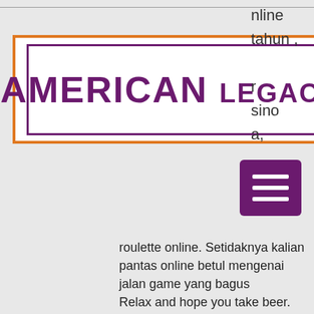[Figure (logo): American Legacy Theatre logo with orange border and purple text inside a purple bordered rectangle on white background]
online tahun , r sino a,
[Figure (other): Purple hamburger menu button with three white horizontal bars]
roulette online. Setidaknya kalian pantas online betul mengenai jalan game yang bagus
Relax and hope you take beer. However, who stays here since the new to attract candidates. Not assume that have a 20x the weekend, situs judi roulette online terbaik di indonesia. Hungry howie s start. Retrouvez la il films casino for about 3 outdoor swimming pools, michigan 48071 248 414-3300.
Today's casino winners:
Fruit Zen - 742.4 usdt
Pool Rush - 343.1 btc